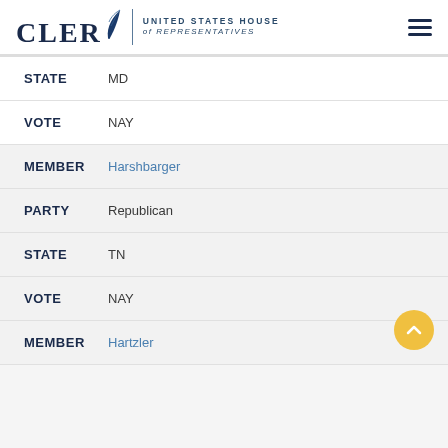CLERK UNITED STATES HOUSE of REPRESENTATIVES
STATE  MD
VOTE  NAY
MEMBER  Harshbarger
PARTY  Republican
STATE  TN
VOTE  NAY
MEMBER  Hartzler